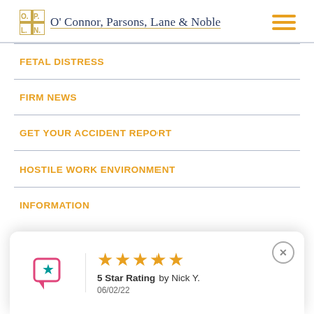O' Connor, Parsons, Lane & Noble
FETAL DISTRESS
FIRM NEWS
GET YOUR ACCIDENT REPORT
HOSTILE WORK ENVIRONMENT
INFORMATION
[Figure (other): Review card showing 5 star rating by Nick Y. on 06/02/22 with chat bubble icon]